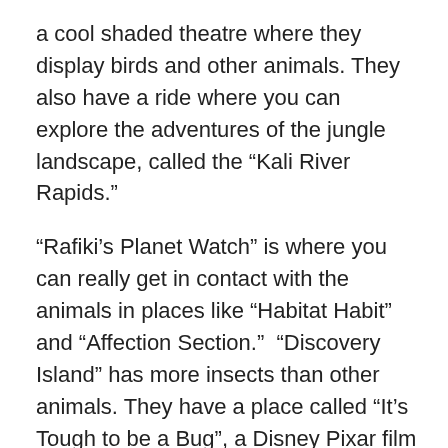a cool shaded theatre where they display birds and other animals. They also have a ride where you can explore the adventures of the jungle landscape, called the “Kali River Rapids.”
“Rafiki’s Planet Watch” is where you can really get in contact with the animals in places like “Habitat Habit” and “Affection Section.”  “Discovery Island” has more insects than other animals. They have a place called “It’s Tough to be a Bug”, a Disney Pixar film to show the life of a bug. If you want to go on expeditions around the parks seeing new animals and learning new things, definitely check out the “Wilderness Explorers.”
The last park is “Africa.”  In this park, they have “Festival of the Lion King”, which is a Broadway show with pageantry and puppetry. A nice place to eat is “Donald’s